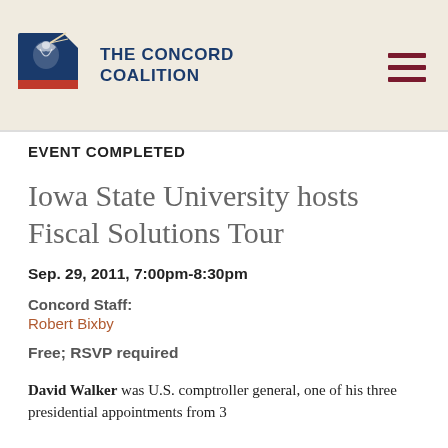[Figure (logo): The Concord Coalition logo with eagle/flag icon and text 'THE CONCORD COALITION']
EVENT COMPLETED
Iowa State University hosts Fiscal Solutions Tour
Sep. 29, 2011, 7:00pm-8:30pm
Concord Staff:
Robert Bixby
Free; RSVP required
David Walker was U.S. comptroller general, one of his three presidential appointments from 3